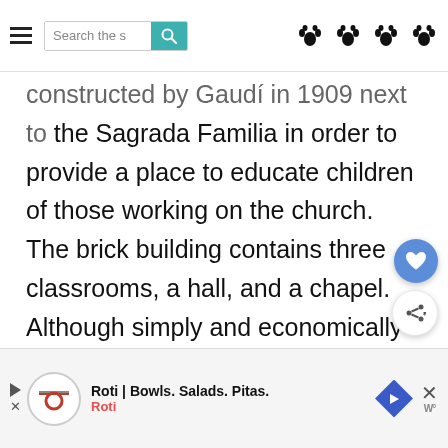Search the s [search button] [paw icons]
constructed by Gaudí in 1909 next to the Sagrada Familia in order to provide a place to educate children of those working on the church. The brick building contains three classrooms, a hall, and a chapel. Although simply and economically designed, you can still see elements of Gaudí's design, particularly in the curved and naturalistic shape of the roofs.
[Figure (other): Advertisement banner for Roti | Bowls. Salads. Pitas. with logo and navigation arrow icon]